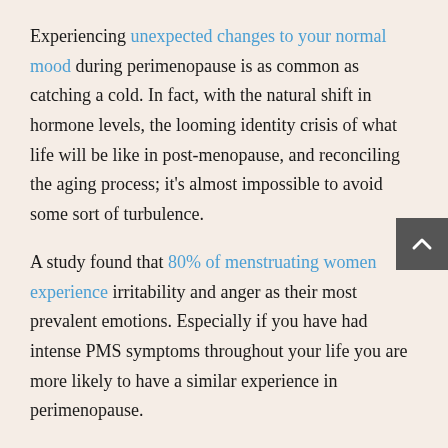Experiencing unexpected changes to your normal mood during perimenopause is as common as catching a cold. In fact, with the natural shift in hormone levels, the looming identity crisis of what life will be like in post-menopause, and reconciling the aging process; it's almost impossible to avoid some sort of turbulence.
A study found that 80% of menstruating women experience irritability and anger as their most prevalent emotions. Especially if you have had intense PMS symptoms throughout your life you are more likely to have a similar experience in perimenopause.
On the spectrum of temper, a mild sense of annoyance might be manageable but on the extreme end, developing perimenopausal rage can wreak complete havoc on almost every aspect of your life.